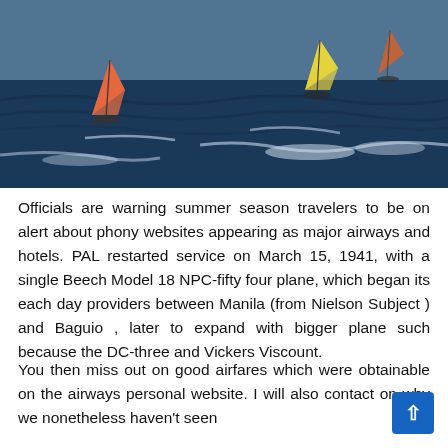[Figure (photo): Aerial or water-level photo of windsurfers on dark ocean water with waves and white caps]
Officials are warning summer season travelers to be on alert about phony websites appearing as major airways and hotels. PAL restarted service on March 15, 1941, with a single Beech Model 18 NPC-fifty four plane, which began its each day providers between Manila (from Nielson Subject ) and Baguio , later to expand with bigger plane such because the DC-three and Vickers Viscount.
You then miss out on good airfares which were obtainable on the airways personal website. I will also contact on why we nonetheless haven't seen